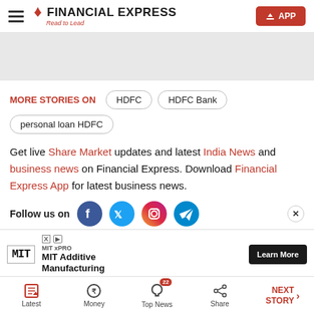FINANCIAL EXPRESS — Read to Lead | APP
[Figure (other): Advertisement banner (grey placeholder)]
MORE STORIES ON
HDFC
HDFC Bank
personal loan HDFC
Get live Share Market updates and latest India News and business news on Financial Express. Download Financial Express App for latest business news.
Follow us on
[Figure (other): MIT xPRO advertisement: MIT Additive Manufacturing — Learn More button]
Latest | Money | Top News (22) | Share | NEXT STORY